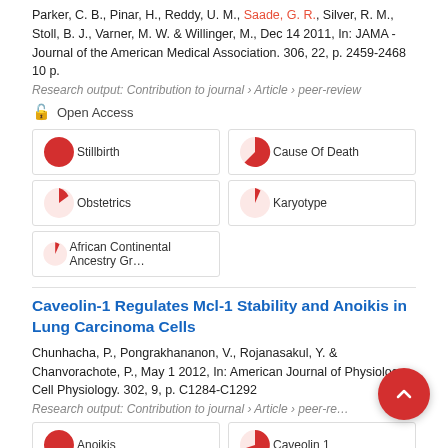Parker, C. B., Pinar, H., Reddy, U. M., Saade, G. R., Silver, R. M., Stoll, B. J., Varner, M. W. & Willinger, M., Dec 14 2011, In: JAMA - Journal of the American Medical Association. 306, 22, p. 2459-2468 10 p.
Research output: Contribution to journal › Article › peer-review
Open Access
[Figure (infographic): Keyword pills with arc/pie indicators: Stillbirth (100%), Cause Of Death (75%), Obstetrics (22%), Karyotype (13%), African Continental Ancestry Group (13%)]
Caveolin-1 Regulates Mcl-1 Stability and Anoikis in Lung Carcinoma Cells
Chunhacha, P., Pongrakhananon, V., Rojanasakul, Y. & Chanvorachote, P., May 1 2012, In: American Journal of Physiology - Cell Physiology. 302, 9, p. C1284-C1292
Research output: Contribution to journal › Article › peer-review
[Figure (infographic): Keyword pills: Anoikis (100%), Caveolin 1 (90%)]